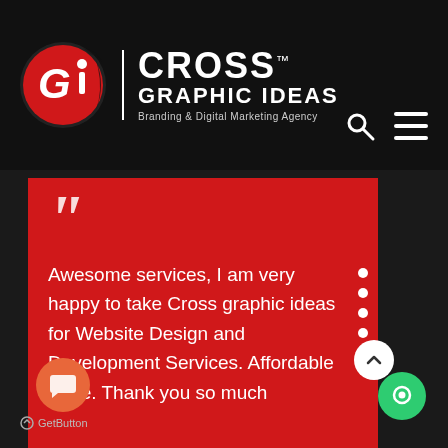[Figure (logo): Cross Graphic Ideas logo — red circular G+i icon, white text CROSS GRAPHIC IDEAS, tagline Branding & Digital Marketing Agency]
Awesome services, I am very happy to take Cross graphic ideas for Website Design and Development Services. Affordable Price. Thank you so much